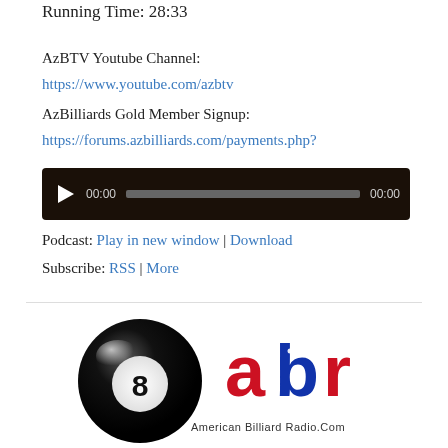Running Time: 28:33
AzBTV Youtube Channel:
https://www.youtube.com/azbtv
AzBilliards Gold Member Signup:
https://forums.azbilliards.com/payments.php?
[Figure (other): Audio player with play button, progress bar showing 00:00 / 00:00 on dark background]
Podcast: Play in new window | Download
Subscribe: RSS | More
[Figure (logo): American Billiard Radio logo featuring a black 8-ball and stylized 'abr' text with American flag design, with tagline American Billiard Radio.Com]